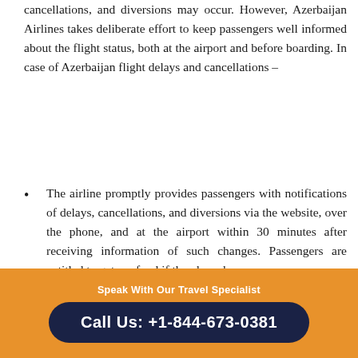cancellations, and diversions may occur. However, Azerbaijan Airlines takes deliberate effort to keep passengers well informed about the flight status, both at the airport and before boarding. In case of Azerbaijan flight delays and cancellations –
The airline promptly provides passengers with notifications of delays, cancellations, and diversions via the website, over the phone, and at the airport within 30 minutes after receiving information of such changes. Passengers are entitled to get a refund if they have been
Speak With Our Travel Specialist
Call Us: +1-844-673-0381